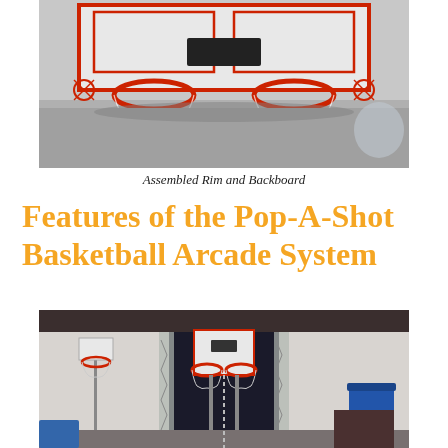[Figure (photo): Photo of assembled basketball rim and backboard with two red hoops, mounted on a white backboard with red border, sitting on a gray floor]
Assembled Rim and Backboard
Features of the Pop-A-Shot Basketball Arcade System
[Figure (photo): Photo of a basement basketball arcade setup showing the Pop-A-Shot system with backboard and two hoops with nets, a standalone basketball hoop to the left, lane netting, and various items in the background]